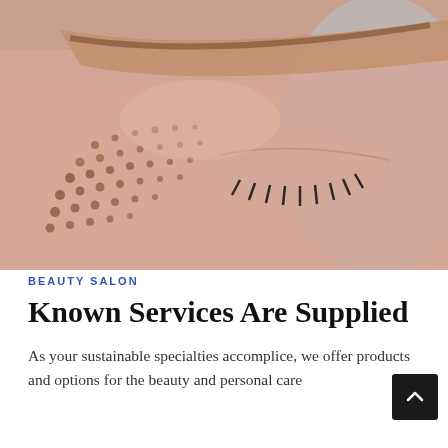[Figure (photo): Close-up photo of a person's face near the eye area, showing skin with small dotted marks or freckles/micro-needling treatment pattern, visible eyelashes, and a thin eyebrow. Background is light blue/grey.]
BEAUTY SALON
Known Services Are Supplied
As your sustainable specialties accomplice, we offer products and options for the beauty and personal care